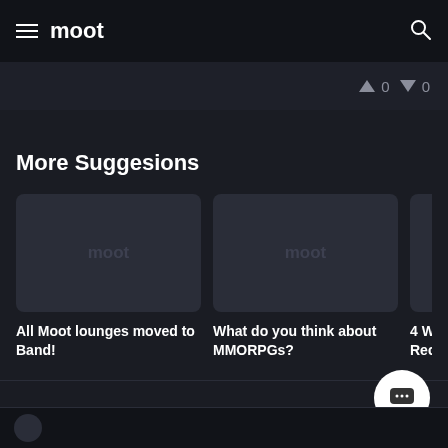moot
More Suggesions
[Figure (screenshot): Card thumbnail placeholder with moot logo text - All Moot lounges moved to Band!]
[Figure (screenshot): Card thumbnail placeholder with moot logo text - What do you think about MMORPGs?]
[Figure (screenshot): Card thumbnail placeholder with moot logo text - 4 Ways to Be a To... Recruitment...]
Comments 1